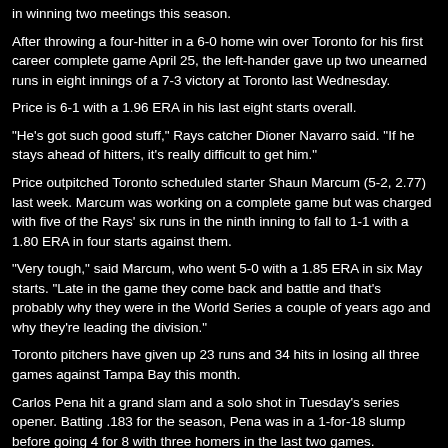in winning two meetings this season.
After throwing a four-hitter in a 6-0 home win over Toronto for his first career complete game April 25, the left-hander gave up two unearned runs in eight innings of a 7-3 victory at Toronto last Wednesday.
Price is 6-1 with a 1.96 ERA in his last eight starts overall.
"He's got such good stuff," Rays catcher Dioner Navarro said. "If he stays ahead of hitters, it's really difficult to get him."
Price outpitched Toronto scheduled starter Shaun Marcum (5-2, 2.77) last week. Marcum was working on a complete game but was charged with five of the Rays' six runs in the ninth inning to fall to 1-1 with a 1.80 ERA in four starts against them.
"Very tough," said Marcum, who went 5-0 with a 1.85 ERA in six May starts. "Late in the game they come back and battle and that's probably why they were in the World Series a couple of years ago and why they're leading the division."
Toronto pitchers have given up 23 runs and 34 hits in losing all three games against Tampa Bay this month.
Carlos Pena hit a grand slam and a solo shot in Tuesday's series opener. Batting .183 for the season, Pena was in a 1-for-18 slump before going 4 for 8 with three homers in the last two games.
"It's a good sign," said Pena, who leads the AL with 64 strikeouts. "It just feels good to contribute with the bat. It really does."